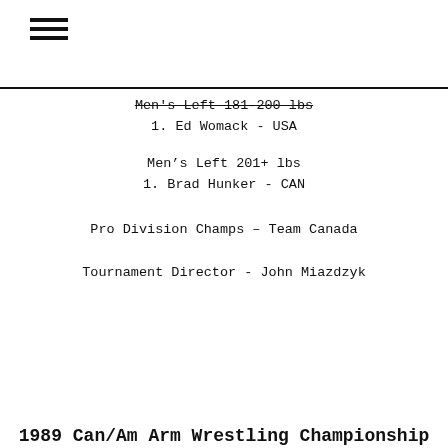[Figure (other): Hamburger menu icon (three horizontal lines)]
Men's Left 181-200 lbs
1. Ed Womack - USA
Men's Left 201+ lbs
1. Brad Hunker - CAN
Pro Division Champs – Team Canada
Tournament Director - John Miazdzyk
1989 Can/Am Arm Wrestling Championship